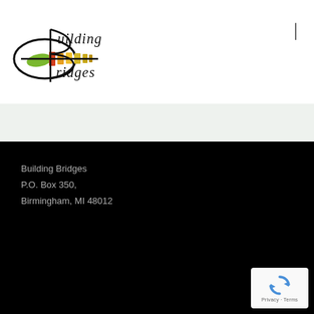[Figure (logo): Building Bridges logo with colorful horizontal bars (green, red, orange, yellow) forming a bridge shape with circular elements and cursive text reading 'Building Bridges']
Building Bridges
P.O. Box 350,
Birmingham, MI 48012